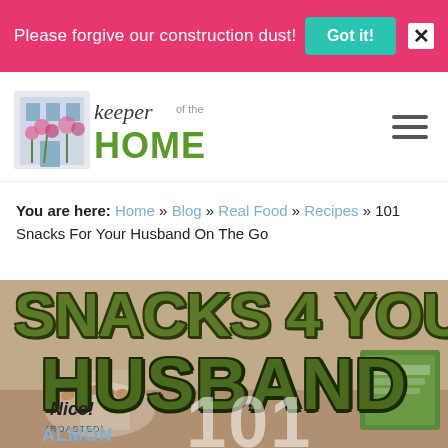Please forgive our construction dust!  Got it!  X
[Figure (logo): Keeper of the Home logo with illustrated house and floral elements, script and sans-serif text]
You are here: Home » Blog » Real Food » Recipes » 101 Snacks For Your Husband On The Go
[Figure (photo): Hero image showing 'Snacks 4 Your Husband' in large green outlined bold text overlay on a kitchen counter background with almonds and a green box, and '101' in large white text at the bottom]